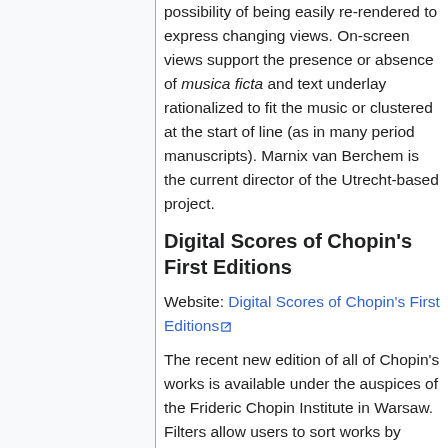possibility of being easily re-rendered to express changing views. On-screen views support the presence or absence of musica ficta and text underlay rationalized to fit the music or clustered at the start of line (as in many period manuscripts). Marnix van Berchem is the current director of the Utrecht-based project.
Digital Scores of Chopin's First Editions
Website: Digital Scores of Chopin's First Editions [external link]
The recent new edition of all of Chopin's works is available under the auspices of the Frideric Chopin Institute in Warsaw. Filters allow users to sort works by genre and publisher, find them by opus number, and search the musical content